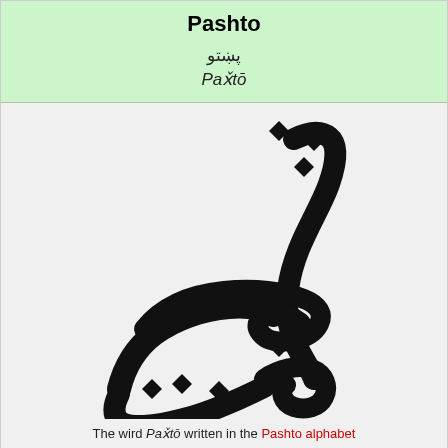Pashto
پښتو
Paxṯō
[Figure (illustration): Large calligraphic rendering of the word Paxṯō written in Pashto/Nastaliq script, black ink on light gray background.]
The wird Paxṯō written in the Pashto alphabet
| Property | Value |
| --- | --- |
| Pronunciation | ['pəṣṯo:], ['pʊxṯo:] |
| Native tae | Afghanistan an Pakistan |
| Region | Sooth Asia, Central Asie |
| Ethnicity | Pashtuns |